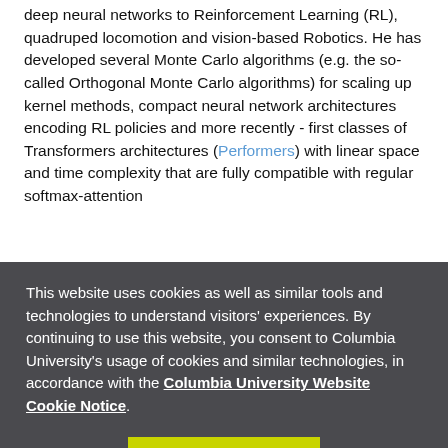deep neural networks to Reinforcement Learning (RL), quadruped locomotion and vision-based Robotics. He has developed several Monte Carlo algorithms (e.g. the so-called Orthogonal Monte Carlo algorithms) for scaling up kernel methods, compact neural network architectures encoding RL policies and more recently - first classes of Transformers architectures (Performers) with linear space and time complexity that are fully compatible with regular softmax-attention
This website uses cookies as well as similar tools and technologies to understand visitors' experiences. By continuing to use this website, you consent to Columbia University's usage of cookies and similar technologies, in accordance with the Columbia University Website Cookie Notice.